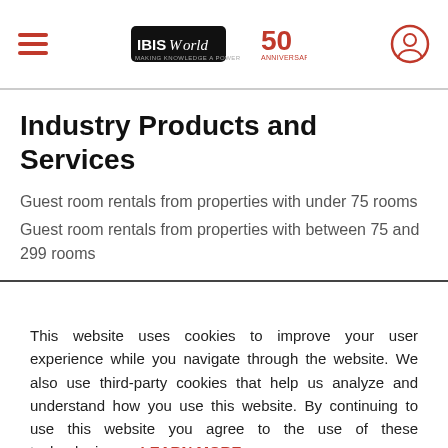IBISWorld 50th Anniversary — navigation header
Industry Products and Services
Guest room rentals from properties with under 75 rooms
Guest room rentals from properties with between 75 and 299 rooms
This website uses cookies to improve your user experience while you navigate through the website. We also use third-party cookies that help us analyze and understand how you use this website. By continuing to use this website you agree to the use of these technologies. LEARN MORE
ACCEPT